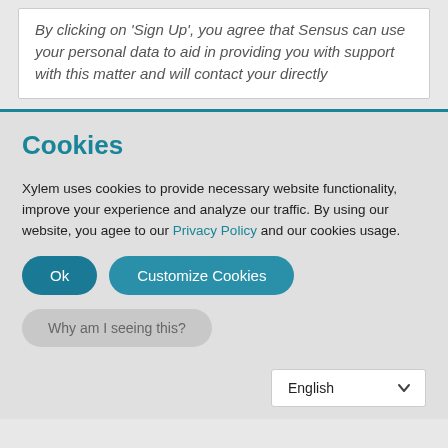By clicking on 'Sign Up', you agree that Sensus can use your personal data to aid in providing you with support with this matter and will contact your directly
Cookies
Xylem uses cookies to provide necessary website functionality, improve your experience and analyze our traffic. By using our website, you agee to our Privacy Policy and our cookies usage.
Ok
Customize Cookies
Why am I seeing this?
English